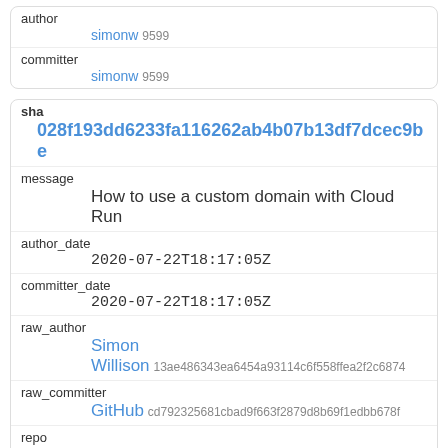| field | value |
| --- | --- |
| author | simonw 9599 |
| committer | simonw 9599 |
| field | value |
| --- | --- |
| sha | 028f193dd6233fa116262ab4b07b13df7dcec9be |
| message | How to use a custom domain with Cloud Run |
| author_date | 2020-07-22T18:17:05Z |
| committer_date | 2020-07-22T18:17:05Z |
| raw_author | Simon Willison 13ae486343ea6454a93114c6f558ffea2f2c6874 |
| raw_committer | GitHub cd792325681cbad9f663f2879d8b69f1edbb678f |
| repo | datasette 107914493 |